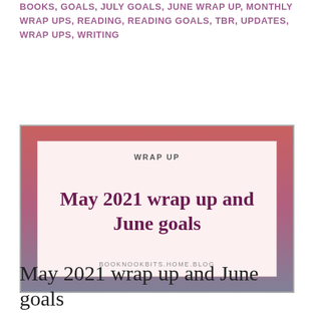BOOKS, GOALS, JULY GOALS, JUNE WRAP UP, MONTHLY WRAP UPS, READING, READING GOALS, TBR, UPDATES, WRAP UPS, WRITING
[Figure (other): Blog post thumbnail card with a wood-texture background in red/mauve/slate tones, containing an inner cream-colored box with the category label 'WRAP UP', title 'May 2021 wrap up and June goals', and URL 'BOOKNOOKBITS.HOME.BLOG']
May 2021 wrap up and June goals